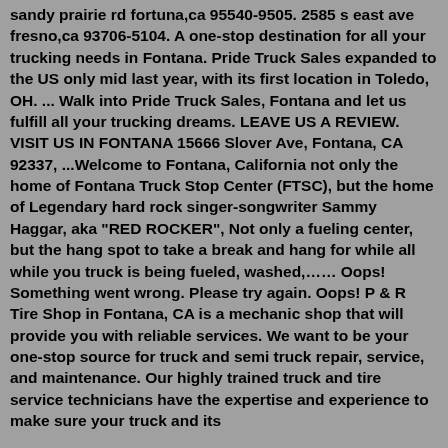sandy prairie rd fortuna,ca 95540-9505. 2585 s east ave fresno,ca 93706-5104. A one-stop destination for all your trucking needs in Fontana. Pride Truck Sales expanded to the US only mid last year, with its first location in Toledo, OH. ... Walk into Pride Truck Sales, Fontana and let us fulfill all your trucking dreams. LEAVE US A REVIEW. VISIT US IN FONTANA 15666 Slover Ave, Fontana, CA 92337, ...Welcome to Fontana, California not only the home of Fontana Truck Stop Center (FTSC), but the home of Legendary hard rock singer-songwriter Sammy Haggar, aka "RED ROCKER", Not only a fueling center, but the hang spot to take a break and hang for while all while you truck is being fueled, washed,...… Oops! Something went wrong. Please try again. Oops! P & R Tire Shop in Fontana, CA is a mechanic shop that will provide you with reliable services. We want to be your one-stop source for truck and semi truck repair, service, and maintenance. Our highly trained truck and tire service technicians have the expertise and experience to make sure your truck and its